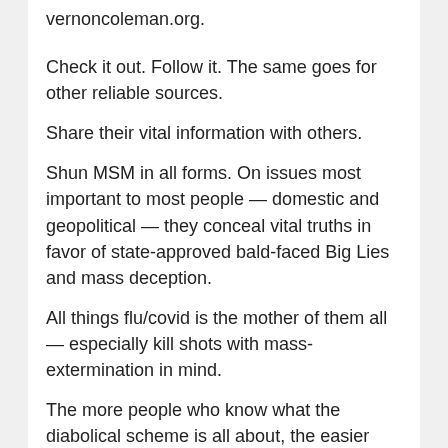vernoncoleman.org.
Check it out. Follow it. The same goes for other reliable sources.
Share their vital information with others.
Shun MSM in all forms. On issues most important to most people — domestic and geopolitical — they conceal vital truths in favor of state-approved bald-faced Big Lies and mass deception.
All things flu/covid is the mother of them all — especially kill shots with mass-extermination in mind.
The more people who know what the diabolical scheme is all about, the easier and more quickly it can be halted before a red line of no return is crossed.